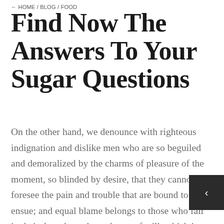← HOME / BLOG / FOOD
Find Now The Answers To Your Sugar Questions
On the other hand, we denounce with righteous indignation and dislike men who are so beguiled and demoralized by the charms of pleasure of the moment, so blinded by desire, that they cannot foresee the pain and trouble that are bound to ensue; and equal blame belongs to those who fail in their duty through weakness of will, which is the same as saying through shrinking from toil and pain. These cases are perfectly simple and easy to distinguish. In a free hour when our power